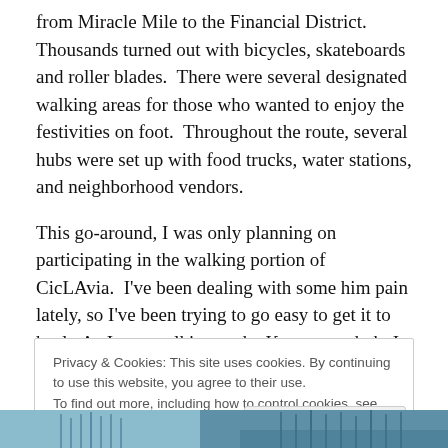from Miracle Mile to the Financial District.  Thousands turned out with bicycles, skateboards and roller blades.  There were several designated walking areas for those who wanted to enjoy the festivities on foot.  Throughout the route, several hubs were set up with food trucks, water stations, and neighborhood vendors.
This go-around, I was only planning on participating in the walking portion of CicLAvia.  I've been dealing with some him pain lately, so I've been trying to go easy to get it to heal.  As I was walking to the Koreatown hub, I saw
Privacy & Cookies: This site uses cookies. By continuing to use this website, you agree to their use.
To find out more, including how to control cookies, see here: Cookie Policy
[Figure (photo): Partial photo strip at bottom of page showing what appears to be buildings or an urban scene with blue tones.]